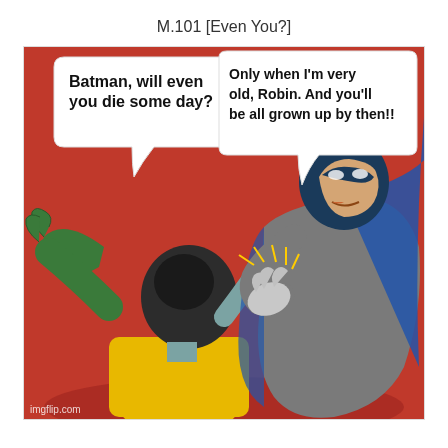M.101 [Even You?]
[Figure (illustration): Batman slapping Robin meme. Robin has a speech bubble on the left saying 'Batman, will even you die some day?' and Batman has a speech bubble on the right saying 'Only when I'm very old, Robin. And you'll be all grown up by then!!' Batman is slapping Robin in a comic-book style panel with a red background. imgflip.com watermark in bottom left.]